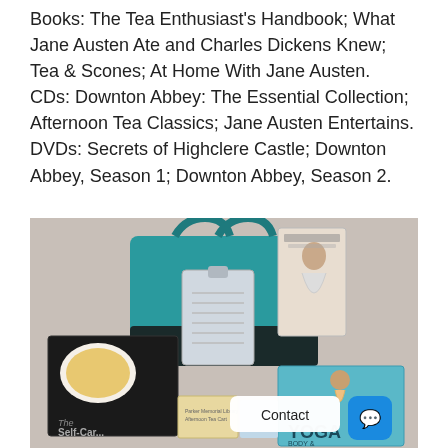Books: The Tea Enthusiast's Handbook; What Jane Austen Ate and Charles Dickens Knew; Tea & Scones; At Home With Jane Austen. CDs: Downton Abbey: The Essential Collection; Afternoon Tea Classics; Jane Austen Entertains. DVDs: Secrets of Highclere Castle; Downton Abbey, Season 1; Downton Abbey, Season 2.
[Figure (photo): Photo of a tote bag (teal/black) surrounded by several books and media items including 'The Self-Care' book, a yoga/body book, a DVD or book with a woman in yoga pose, a clipboard/notepad, and other items. A 'Contact' button and chat icon are overlaid in the lower right corner.]